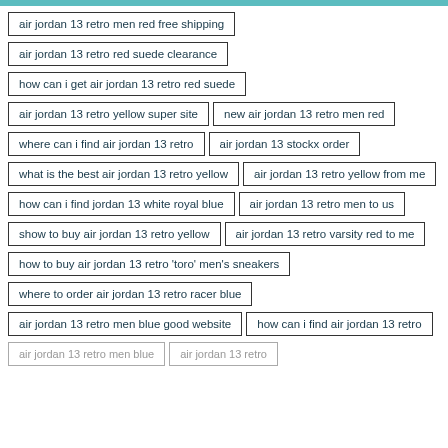air jordan 13 retro men red free shipping
air jordan 13 retro red suede clearance
how can i get air jordan 13 retro red suede
air jordan 13 retro yellow super site
new air jordan 13 retro men red
where can i find air jordan 13 retro
air jordan 13 stockx order
what is the best air jordan 13 retro yellow
air jordan 13 retro yellow from me
how can i find jordan 13 white royal blue
air jordan 13 retro men to us
show to buy air jordan 13 retro yellow
air jordan 13 retro varsity red to me
how to buy air jordan 13 retro 'toro' men's sneakers
where to order air jordan 13 retro racer blue
air jordan 13 retro men blue good website
how can i find air jordan 13 retro
air jordan 13 retro men blue
air jordan 13 retro